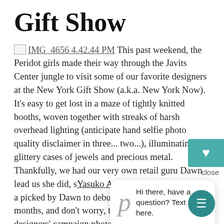Gift Show
IMG_4656 4.42.44 PM This past weekend, the Peridot girls made their way through the Javits Center jungle to visit some of our favorite designers at the New York Gift Show (a.k.a. New York Now). It's easy to get lost in a maze of tightly knitted booths, woven together with streaks of harsh overhead lighting (anticipate hand selfie photo quality disclaimer in three... two...), illuminating glittery cases of jewels and precious metal. Thankfully, we had our very own retail guru Dawn lead us she did, stopping at Yasuko Azuma, J Tomlinson. Here are the pieces picked by Dawn to debut at Peridot in the coming months, and don't worry, the lighting in our designers' campaign photography is far better than the trade show. Without further ado:
[Figure (screenshot): Chat popup with 'p' logo and text: Hi there, have a question? Text us here.]